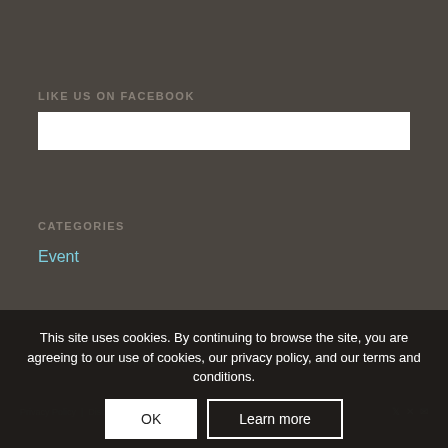LIKE US ON FACEBOOK
[Figure (other): White Facebook embed/widget box]
CATEGORIES
Event
This site uses cookies. By continuing to browse the site, you are agreeing to our use of cookies, our privacy policy, and our terms and conditions.
© Copyright - Serving Others | Powered by Jnssant
Privacy Policy | Disclaimer | Cookie Policy
[Figure (other): Social media icons: Twitter, X, envelope]